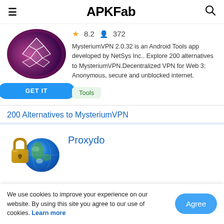APKFab
8.2  372
MysteriumVPN 2.0.32 is an Android Tools app developed by NetSys Inc.. Explore 200 alternatives to MysteriumVPN.Decentralized VPN for Web 3: Anonymous, secure and unblocked internet.
Tools
200 Alternatives to MysteriumVPN
Proxydo
We use cookies to improve your experience on our website. By using this site you agree to our use of cookies. Learn more